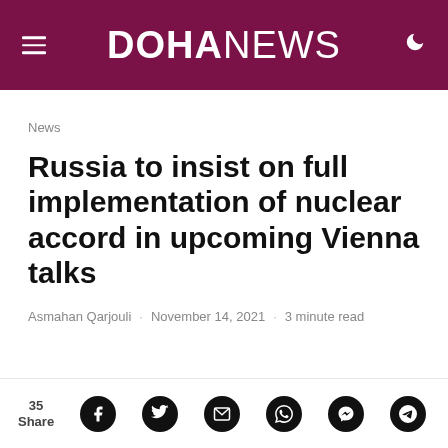DOHANEWS
News
Russia to insist on full implementation of nuclear accord in upcoming Vienna talks
Asmahan Qarjouli · November 14, 2021 · 3 minute read
35 Share